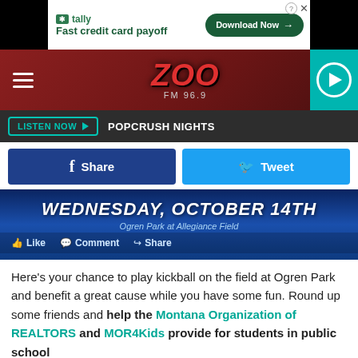[Figure (screenshot): Top advertisement banner: Tally - Fast credit card payoff, Download Now button]
[Figure (screenshot): ZOO FM 96.9 radio station header with hamburger menu, red logo, and teal play button]
LISTEN NOW  POPCRUSH NIGHTS
[Figure (screenshot): Share and Tweet social media buttons]
[Figure (screenshot): Event banner: WEDNESDAY, OCTOBER 14TH at Ogren Park at Allegiance Field, with Like, Comment, Share Facebook actions]
Here's your chance to play kickball on the field at Ogren Park and benefit a great cause while you have some fun. Round up some friends and help the Montana Organization of REALTORS and MOR4Kids provide for students in public school
[Figure (screenshot): Bottom advertisement banner: Tally - Fast credit card payoff, Download Now button]
All the